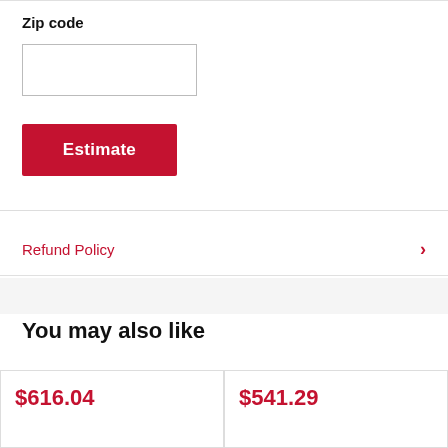Zip code
[Figure (other): Empty zip code input field]
[Figure (other): Red Estimate button]
Refund Policy
You may also like
$616.04
$541.29